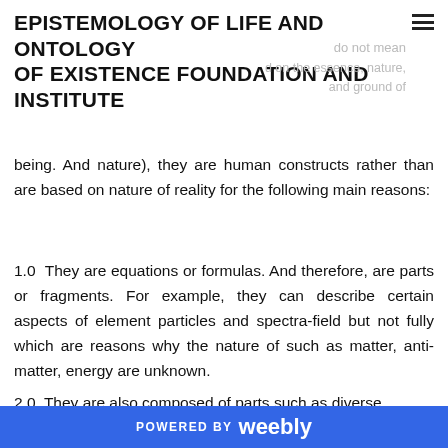EPISTEMOLOGY OF LIFE AND ONTOLOGY OF EXISTENCE FOUNDATION AND INSTITUTE
do not mean ... based on the essence, nature, and ground of being. And nature), they are human constructs rather than are based on nature of reality for the following main reasons:
1.0 They are equations or formulas. And therefore, are parts or fragments. For example, they can describe certain aspects of element particles and spectra-field but not fully which are reasons why the nature of such as matter, anti-matter, energy are unknown.
2.0 They are also composed of parts such as diverse
POWERED BY weebly